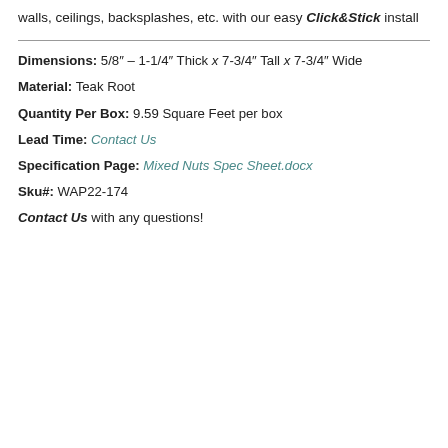walls, ceilings, backsplashes, etc. with our easy Click&Stick install
Dimensions: 5/8” – 1-1/4” Thick x 7-3/4” Tall x 7-3/4” Wide
Material: Teak Root
Quantity Per Box: 9.59 Square Feet per box
Lead Time: Contact Us
Specification Page: Mixed Nuts Spec Sheet.docx
Sku#: WAP22-174
Contact Us with any questions!